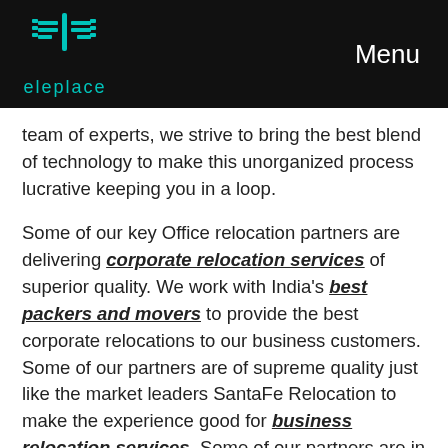eleplace   Menu
team of experts, we strive to bring the best blend of technology to make this unorganized process lucrative keeping you in a loop.
Some of our key Office relocation partners are delivering corporate relocation services of superior quality. We work with India's best packers and movers to provide the best corporate relocations to our business customers. Some of our partners are of supreme quality just like the market leaders SantaFe Relocation to make the experience good for business relocation services. Some of our partners are in the league of Rising Star Packers and Movers, Maxwell Relocations, Agarwal Packers and Movers Limited (only original), Maple Packers and Movers, Professional Packers and Movers, and other reputed and